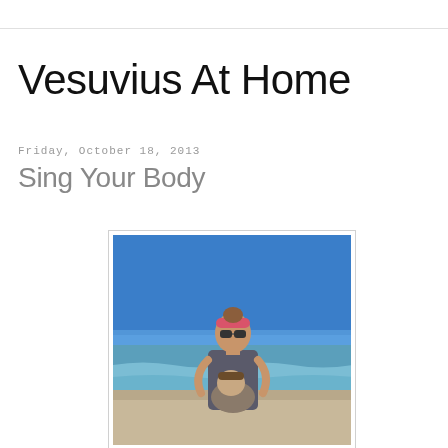Vesuvius At Home
Friday, October 18, 2013
Sing Your Body
[Figure (photo): A woman wearing a pink headband and sunglasses at a beach, holding a child, with blue sky and ocean in the background.]